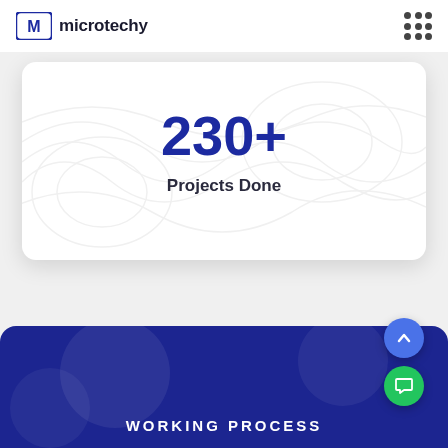microtechy
230+
Projects Done
WORKING PROCESS